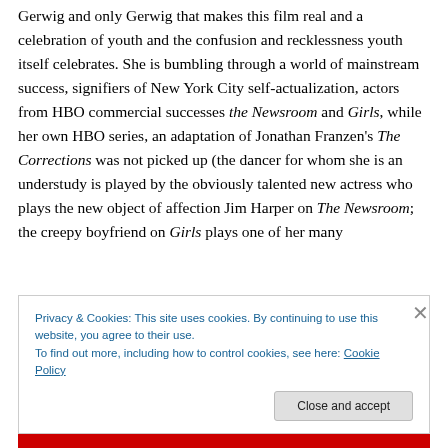Gerwig and only Gerwig that makes this film real and a celebration of youth and the confusion and recklessness youth itself celebrates. She is bumbling through a world of mainstream success, signifiers of New York City self-actualization, actors from HBO commercial successes the Newsroom and Girls, while her own HBO series, an adaptation of Jonathan Franzen's The Corrections was not picked up (the dancer for whom she is an understudy is played by the obviously talented new actress who plays the new object of affection Jim Harper on The Newsroom; the creepy boyfriend on Girls plays one of her many
Privacy & Cookies: This site uses cookies. By continuing to use this website, you agree to their use.
To find out more, including how to control cookies, see here: Cookie Policy